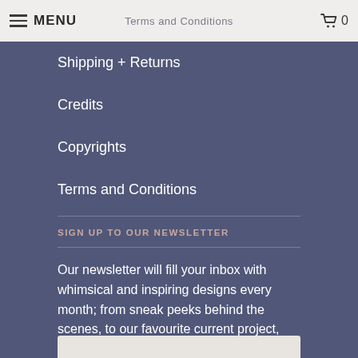MENU | Terms and Conditions | 0
Shipping + Returns
Credits
Copyrights
Terms and Conditions
SIGN UP TO OUR NEWSLETTER
Our newsletter will fill your inbox with whimsical and inspiring designs every month; from sneak peeks behind the scenes, to our favourite current project, we'll take you with us on our journey towards finding an intimate, authentic aesthetic for every event.